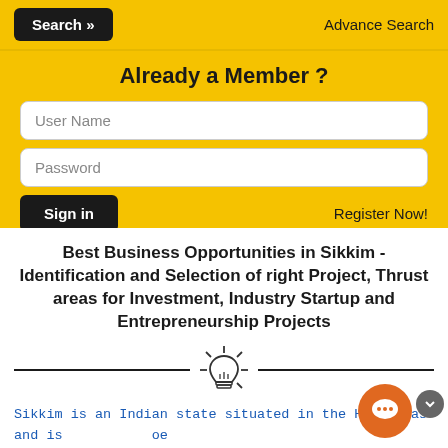Search »   Advance Search
Already a Member ?
User Name
Password
Sign in   Register Now!
Best Business Opportunities in Sikkim - Identification and Selection of right Project, Thrust areas for Investment, Industry Startup and Entrepreneurship Projects
[Figure (illustration): Light bulb icon with rays, used as a decorative divider]
Sikkim is an Indian state situated in the Himalayas and is landlocked. It is the least populous state in the country and the